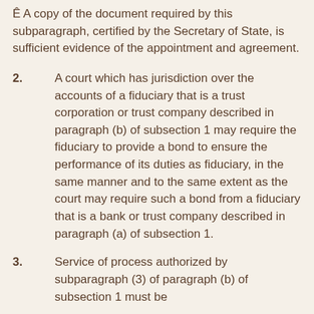Ê A copy of the document required by this subparagraph, certified by the Secretary of State, is sufficient evidence of the appointment and agreement.
2. A court which has jurisdiction over the accounts of a fiduciary that is a trust corporation or trust company described in paragraph (b) of subsection 1 may require the fiduciary to provide a bond to ensure the performance of its duties as fiduciary, in the same manner and to the same extent as the court may require such a bond from a fiduciary that is a bank or trust company described in paragraph (a) of subsection 1.
3. Service of process authorized by subparagraph (3) of paragraph (b) of subsection 1 must be